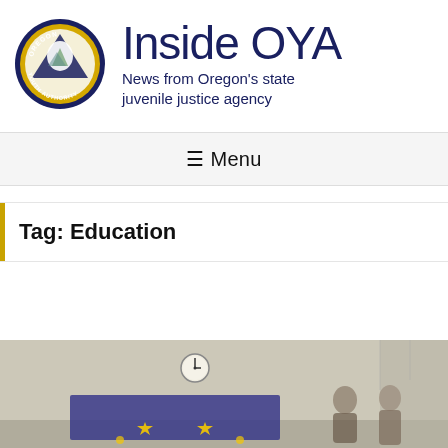[Figure (logo): Oregon Youth Authority circular seal/badge logo with blue border, gold ring, and central emblem with mountain scene and triangular design. Text reads OREGON YOUTH AUTHORITY around the border.]
Inside OYA
News from Oregon's state juvenile justice agency
☰ Menu
Tag: Education
[Figure (photo): Interior room photograph showing a classroom or event space with beige/cream walls. A clock is mounted on the wall and there appears to be a decorated display board or bulletin board with gold/yellow decorations at the bottom of the image. Two people are partially visible on the right side.]